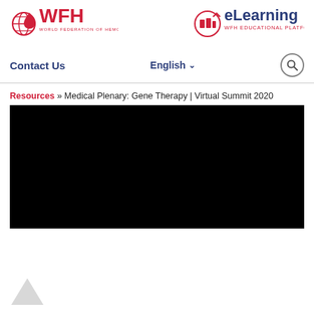[Figure (logo): WFH World Federation of Hemophilia logo in red with globe and blood drop icon]
[Figure (logo): WFH eLearning Educational Platform logo in red and navy blue]
Contact Us
English ∨
🔍
Resources » Medical Plenary: Gene Therapy | Virtual Summit 2020
[Figure (screenshot): Black video player area (video not loaded)]
[Figure (illustration): Partial triangle/arrow icon at bottom left, gray colored]